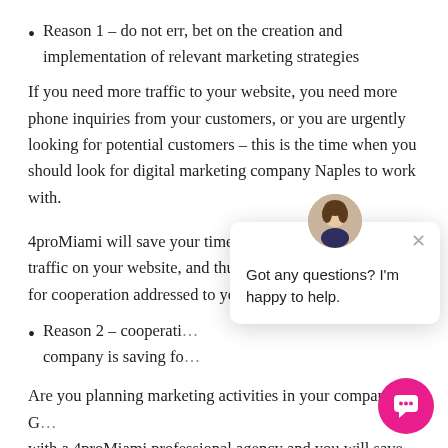Reason 1 – do not err, bet on the creation and implementation of relevant marketing strategies
If you need more traffic to your website, you need more phone inquiries from your customers, or you are urgently looking for potential customers – this is the time when you should look for digital marketing company Naples to work with.
4proMiami will save your time and positively affect the traffic on your website, and thus – the number of requests for cooperation addressed to your sales dep…
Reason 2 – cooperati… company is saving fo…
Are you planning marketing activities in your company? G… with a 4proMiami professional agency and you will save t… budget for these activities!
[Figure (other): Chat popup overlay with avatar photo of a woman and text 'Got any questions? I'm happy to help.']
[Figure (other): Pink circular chat button in the bottom right corner]